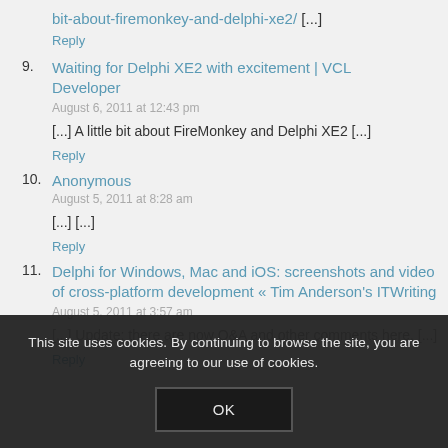bit-about-firemonkey-and-delphi-xe2/ [...]
Reply
9. Waiting for Delphi XE2 with excitement | VCL Developer
August 6, 2011 at 12:43 pm
[...] A little bit about FireMonkey and Delphi XE2 [...]
Reply
10. Anonymous
August 5, 2011 at 8:28 am
[...] [...]
Reply
11. Delphi for Windows, Mac and iOS: screenshots and video of cross-platform development « Tim Anderson's ITWriting
August 5, 2011 at 3:57 am
[...] Update: there are now Q&A and other comments here. [...]
Reply
This site uses cookies. By continuing to browse the site, you are agreeing to our use of cookies.
OK